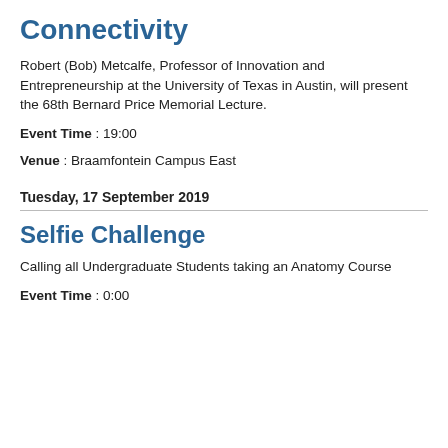Connectivity
Robert (Bob) Metcalfe, Professor of Innovation and Entrepreneurship at the University of Texas in Austin, will present the 68th Bernard Price Memorial Lecture.
Event Time : 19:00
Venue : Braamfontein Campus East
Tuesday, 17 September 2019
Selfie Challenge
Calling all Undergraduate Students taking an Anatomy Course
Event Time : 0:00